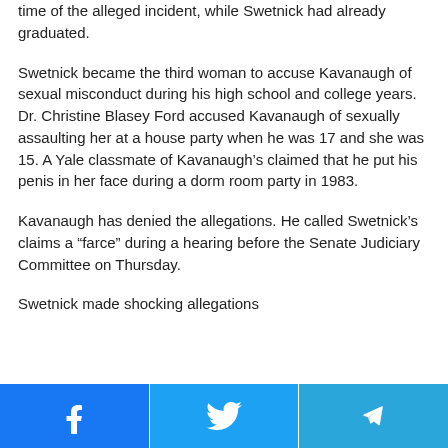time of the alleged incident, while Swetnick had already graduated.
Swetnick became the third woman to accuse Kavanaugh of sexual misconduct during his high school and college years. Dr. Christine Blasey Ford accused Kavanaugh of sexually assaulting her at a house party when he was 17 and she was 15. A Yale classmate of Kavanaugh’s claimed that he put his penis in her face during a dorm room party in 1983.
Kavanaugh has denied the allegations. He called Swetnick’s claims a “farce” during a hearing before the Senate Judiciary Committee on Thursday.
Swetnick made shocking allegations
Facebook | Twitter | Telegram